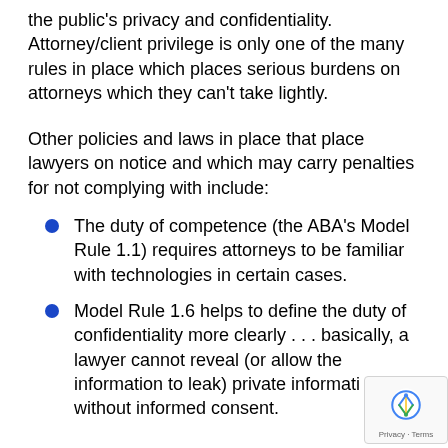the public's privacy and confidentiality. Attorney/client privilege is only one of the many rules in place which places serious burdens on attorneys which they can't take lightly.
Other policies and laws in place that place lawyers on notice and which may carry penalties for not complying with include:
The duty of competence (the ABA's Model Rule 1.1) requires attorneys to be familiar with technologies in certain cases.
Model Rule 1.6 helps to define the duty of confidentiality more clearly . . . basically, a lawyer cannot reveal (or allow the information to leak) private information without informed consent.